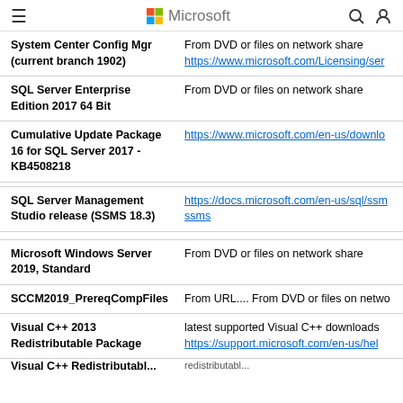Microsoft
| Product | Source |
| --- | --- |
| System Center Config Mgr (current branch 1902) | From DVD or files on network share
https://www.microsoft.com/Licensing/ser... |
| SQL Server Enterprise Edition 2017 64 Bit | From DVD or files on network share |
| Cumulative Update Package 16 for SQL Server 2017 - KB4508218 | https://www.microsoft.com/en-us/downlo... |
| SQL Server Management Studio release (SSMS 18.3) | https://docs.microsoft.com/en-us/sql/ssm...ssms |
| Microsoft Windows Server 2019, Standard | From DVD or files on network share |
| SCCM2019_PrereqCompFiles | From URL.... From DVD or files on netwo... |
| Visual C++ 2013 Redistributable Package | latest supported Visual C++ downloads
https://support.microsoft.com/en-us/hel... |